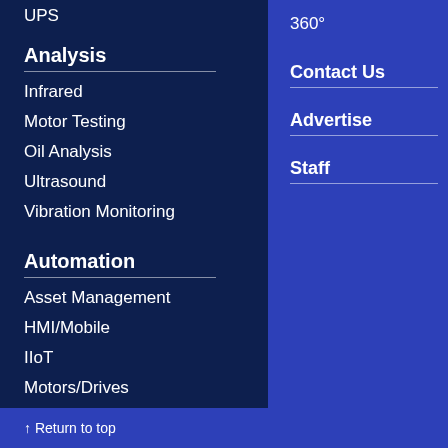UPS
Analysis
Infrared
Motor Testing
Oil Analysis
Ultrasound
Vibration Monitoring
Automation
Asset Management
HMI/Mobile
IIoT
Motors/Drives
↑ Return to top
360°
Contact Us
Advertise
Staff